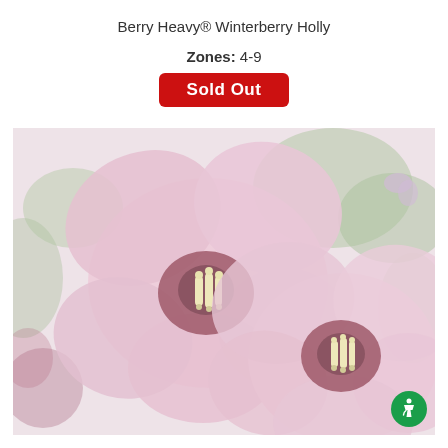Berry Heavy® Winterberry Holly
Zones: 4-9
Sold Out
[Figure (photo): Close-up photograph of light pink hibiscus flowers with dark red centers and green foliage in the background. The image is slightly washed out/faded.]